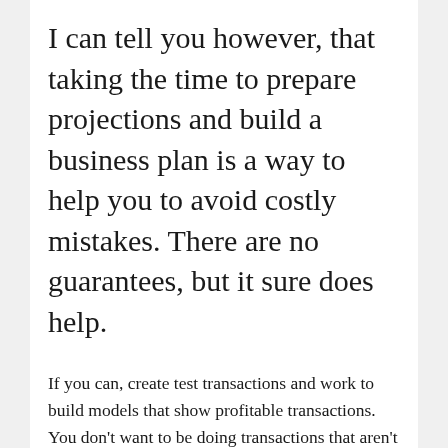I can tell you however, that taking the time to prepare projections and build a business plan is a way to help you to avoid costly mistakes. There are no guarantees, but it sure does help.
If you can, create test transactions and work to build models that show profitable transactions. You don't want to be doing transactions that aren't profitable.
This is also the time where you want to establish